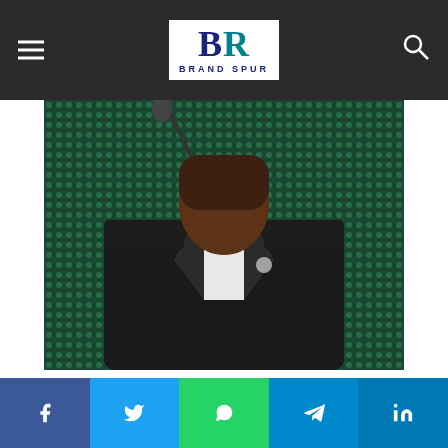Brand Spur
[Figure (photo): Person in dark suit and blue bow tie speaking at a podium with a microphone, against a dark green dotted background]
African Development Bank Group seeks US support for $1.5 billion emergency food plan for Africa
Social share buttons: Facebook, Twitter, WhatsApp, Telegram, LinkedIn